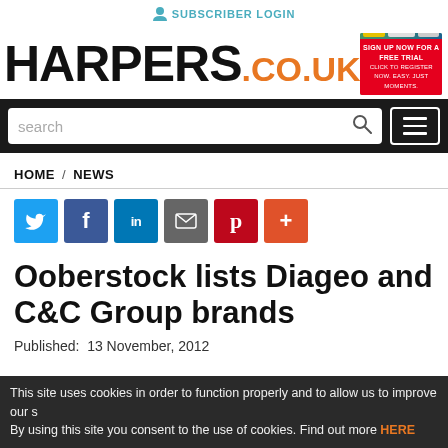🧑 SUBSCRIBER LOGIN
[Figure (logo): HARPERS.CO.UK logo with black bold HARPERS text and orange .CO.UK text, with a promotional ad banner for a free trial on the right]
[Figure (screenshot): Navigation bar with white search box containing 'search' placeholder and magnifying glass icon, and hamburger menu button on dark background]
HOME / NEWS
[Figure (infographic): Social sharing buttons row: Twitter (blue), Facebook (blue), LinkedIn (blue), Email (grey), Pinterest (red), More (orange-red)]
Ooberstock lists Diageo and C&C Group brands
Published:  13 November, 2012
This site uses cookies in order to function properly and to allow us to improve our s By using this site you consent to the use of cookies. Find out more HERE